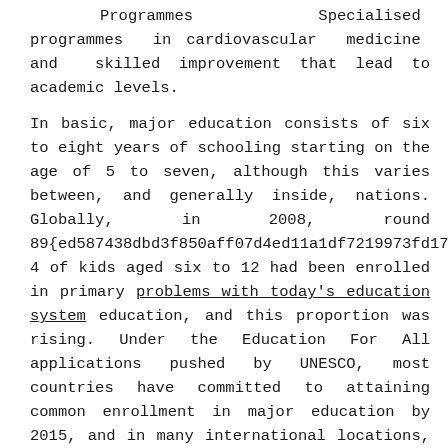Programmes Specialised programmes in cardiovascular medicine and skilled improvement that lead to academic levels.
In basic, major education consists of six to eight years of schooling starting on the age of 5 to seven, although this varies between, and generally inside, nations. Globally, in 2008, round 89{ed587438dbd3f850aff07d4ed11a1df7219973fd174 of kids aged six to 12 had been enrolled in primary problems with today's education system education, and this proportion was rising. Under the Education For All applications pushed by UNESCO, most countries have committed to attaining common enrollment in major education by 2015, and in many international locations, it is obligatory.